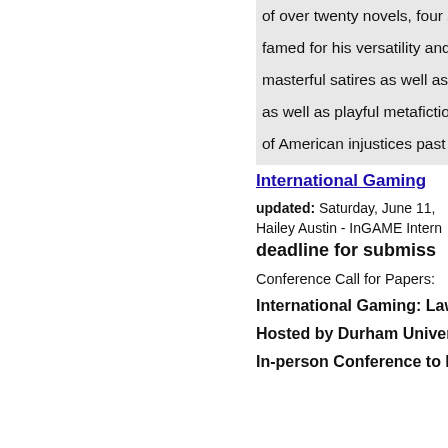of over twenty novels, four s... famed for his versatility and m... masterful satires as well as u... as well as playful metafictiona... of American injustices past a... distinguished career in the ac...
International Gaming...
updated: Saturday, June 11, ...
Hailey Austin - InGAME Intern...
deadline for submiss...
Conference Call for Papers:
International Gaming: Law:...
Hosted by Durham Univers...
In-person Conference to b...